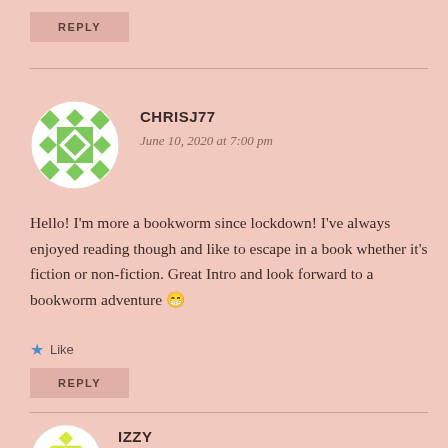REPLY
CHRISJ77
June 10, 2020 at 7:00 pm
Hello! I'm more a bookworm since lockdown! I've always enjoyed reading though and like to escape in a book whether it's fiction or non-fiction. Great Intro and look forward to a bookworm adventure 😁
★ Like
REPLY
IZZY